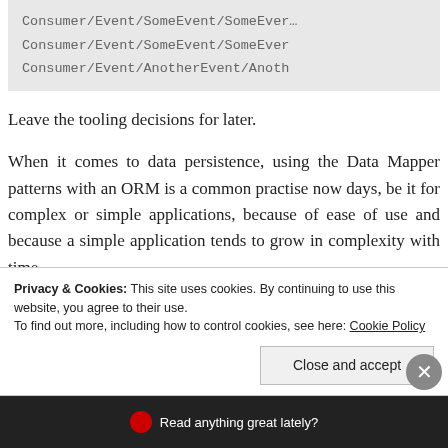[Figure (screenshot): Code block showing Consumer/Event/SomeEvent/SomeEver... and Consumer/Event/AnotherEvent/Anoth... on a grey background]
Leave the tooling decisions for later.
When it comes to data persistence, using the Data Mapper patterns with an ORM is a common practise now days, be it for complex or simple applications, because of ease of use and because a simple application tends to grow in complexity with time.
Privacy & Cookies: This site uses cookies. By continuing to use this website, you agree to their use.
To find out more, including how to control cookies, see here: Cookie Policy